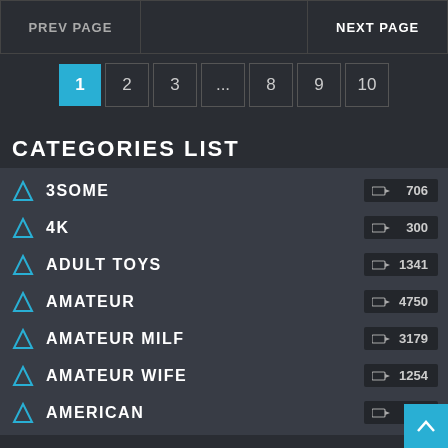PREV PAGE | NEXT PAGE
Pagination: 1 (active), 2, 3, ..., 8, 9, 10
CATEGORIES LIST
3SOME — 706
4K — 300
ADULT TOYS — 1341
AMATEUR — 4750
AMATEUR MILF — 3179
AMATEUR WIFE — 1254
AMERICAN — 34...